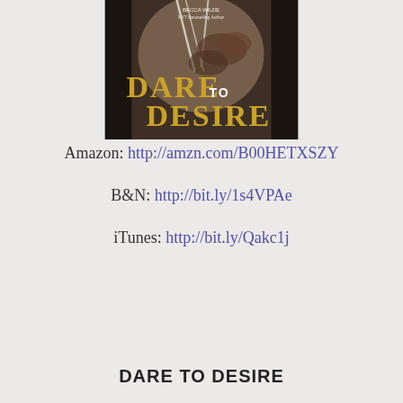[Figure (illustration): Book cover for 'Dare to Desire' by Becca Wilde, NYT Bestselling Author. Black and white photo showing hands on a back with straps, with gold text overlay reading 'DARE TO DESIRE'.]
Amazon: http://amzn.com/B00HETXSZY
B&N: http://bit.ly/1s4VPAe
iTunes: http://bit.ly/Qakc1j
DARE TO DESIRE